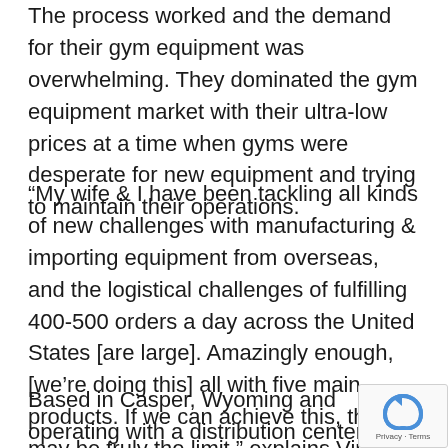The process worked and the demand for their gym equipment was overwhelming. They dominated the gym equipment market with their ultra-low prices at a time when gyms were desperate for new equipment and trying to maintain their operations.
“My wife & I have been tackling all kinds of new challenges with manufacturing & importing equipment from overseas, and the logistical challenges of fulfilling 400-500 orders a day across the United States [are large]. Amazingly enough, [we’re doing this] all with five main products. If we can achieve this, the sky may be truly the limit,” explains Vincent.
Based in Casper, Wyoming and operating with a distribution center in San Jose, California, AD4M i of the world’s fastest-growing gym equipment